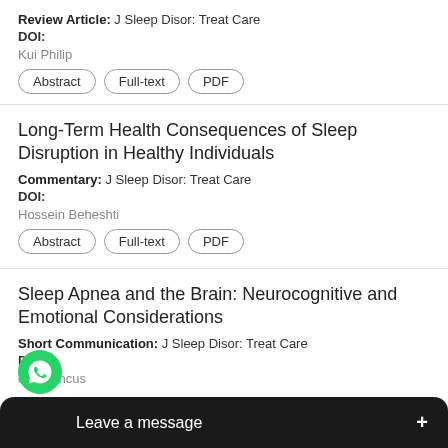Review Article: J Sleep Disor: Treat Care
DOI:
Kui Philip
Abstract | Full-text | PDF
Long-Term Health Consequences of Sleep Disruption in Healthy Individuals
Commentary: J Sleep Disor: Treat Care
DOI:
Hossein Beheshti
Abstract | Full-text | PDF
Sleep Apnea and the Brain: Neurocognitive and Emotional Considerations
Short Communication: J Sleep Disor: Treat Care
DOI:
erg Mancus
[Figure (screenshot): WhatsApp 'Leave a message' chat overlay with green WhatsApp icon and dark bar at bottom of screen]